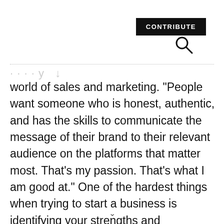CONTRIBUTE
[Figure (other): Search icon (magnifying glass)]
world of sales and marketing. “People want someone who is honest, authentic, and has the skills to communicate the message of their brand to their relevant audience on the platforms that matter most. That’s my passion. That’s what I am good at.” One of the hardest things when trying to start a business is identifying your strengths and